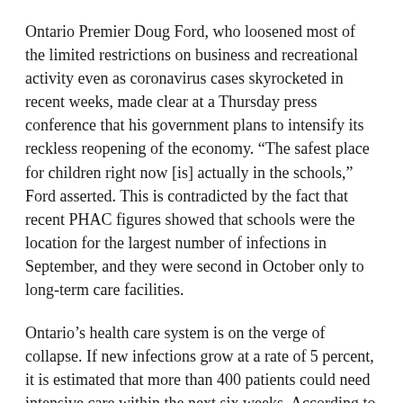Ontario Premier Doug Ford, who loosened most of the limited restrictions on business and recreational activity even as coronavirus cases skyrocketed in recent weeks, made clear at a Thursday press conference that his government plans to intensify its reckless reopening of the economy. “The safest place for children right now [is] actually in the schools,” Ford asserted. This is contradicted by the fact that recent PHAC figures showed that schools were the location for the largest number of infections in September, and they were second in October only to long-term care facilities.
Ontario’s health care system is on the verge of collapse. If new infections grow at a rate of 5 percent, it is estimated that more than 400 patients could need intensive care within the next six weeks. According to the provincial government, the health care system will find it difficult to support non-COVID-19 care if an additional 150 patients